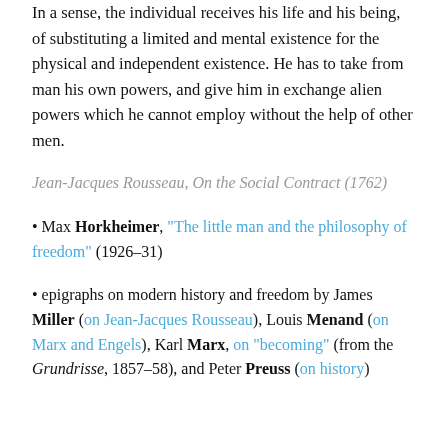In a sense, the individual receives his life and his being, of substituting a limited and mental existence for the physical and independent existence. He has to take from man his own powers, and give him in exchange alien powers which he cannot employ without the help of other men.
Jean-Jacques Rousseau, On the Social Contract (1762)
• Max Horkheimer, "The little man and the philosophy of freedom" (1926–31)
• epigraphs on modern history and freedom by James Miller (on Jean-Jacques Rousseau), Louis Menand (on Marx and Engels), Karl Marx, on "becoming" (from the Grundrisse, 1857–58), and Peter Preuss (on history)